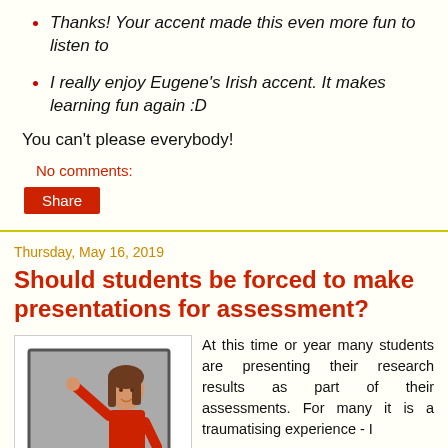Thanks! Your accent made this even more fun to listen to
I really enjoy Eugene's Irish accent. It makes learning fun again :D
You can't please everybody!
No comments:
Share
Thursday, May 16, 2019
Should students be forced to make presentations for assessment?
[Figure (illustration): Cartoon illustration of a female teacher or student presenter in a red outfit, pointing at a grey board/screen]
At this time or year many students are presenting their research results as part of their assessments. For many it is a traumatising experience - I